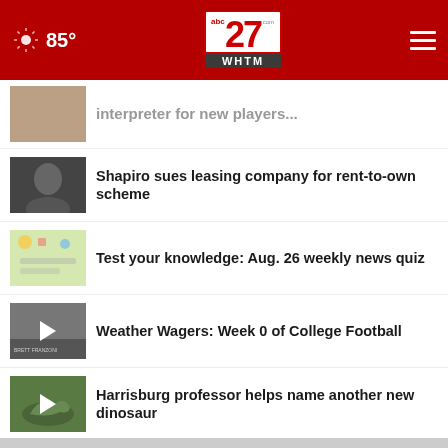85° | abc27 WHTM.com
[Figure (screenshot): Partially visible news thumbnail at top]
Shapiro sues leasing company for rent-to-own scheme
Test your knowledge: Aug. 26 weekly news quiz
Weather Wagers: Week 0 of College Football
Harrisburg professor helps name another new dinosaur
More Stories ›